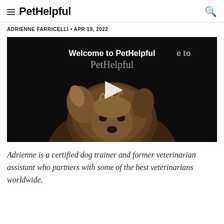PetHelpful
ADRIENNE FARRICELLI • APR 19, 2022
[Figure (screenshot): Video thumbnail showing a Yorkshire Terrier dog against a dark background with text 'Welcome to PetHelpful' and a play button overlay]
Adrienne is a certified dog trainer and former veterinarian assistant who partners with some of the best veterinarians worldwide.